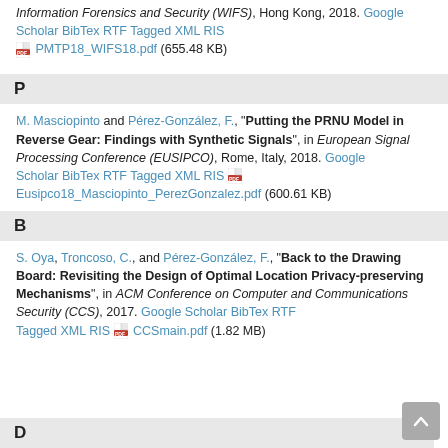Information Forensics and Security (WIFS), Hong Kong, 2018. Google Scholar BibTex RTF Tagged XML RIS [PDF] PMTP18_WIFS18.pdf (655.48 KB)
P
M. Masciopinto and Pérez-González, F., "Putting the PRNU Model in Reverse Gear: Findings with Synthetic Signals", in European Signal Processing Conference (EUSIPCO), Rome, Italy, 2018. Google Scholar BibTex RTF Tagged XML RIS [PDF] Eusipco18_Masciopinto_PerezGonzalez.pdf (600.61 KB)
B
S. Oya, Troncoso, C., and Pérez-González, F., "Back to the Drawing Board: Revisiting the Design of Optimal Location Privacy-preserving Mechanisms", in ACM Conference on Computer and Communications Security (CCS), 2017. Google Scholar BibTex RTF Tagged XML RIS [PDF] CCSmain.pdf (1.82 MB)
D